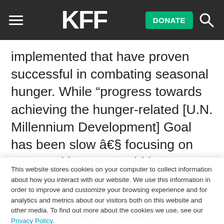KFF [navigation header with hamburger menu, KFF logo, DONATE button, and search icon]
implemented that have proven successful in combating seasonal hunger. While “progress towards achieving the hunger-related [U.N. Millennium Development] Goal has been slow â€¦ focusing on seasonal hunger could leverage existing funds to accelerate the rate of global hunger reduction,” the authors write (Vaitla et al., 6/20)
This website stores cookies on your computer to collect information about how you interact with our website. We use this information in order to improve and customize your browsing experience and for analytics and metrics about our visitors both on this website and other media. To find out more about the cookies we use, see our Privacy Policy.
Accept